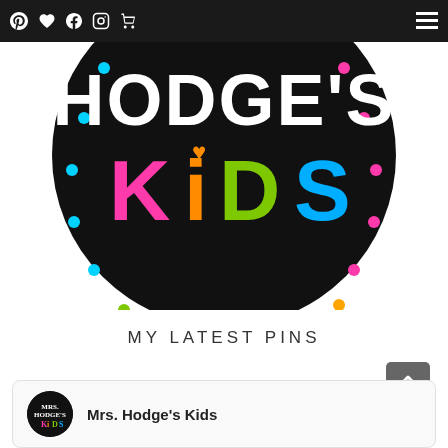Navigation bar with icons: Pinterest, heart, Facebook, Instagram, cart, hamburger menu
[Figure (logo): Mrs. Hodge's Kids logo — black circle with colorful polka dots around the border, white text 'HODGE'S' and colorful 'KiDS' text in pink, orange, green, blue with an orange heart above the i]
MY LATEST PINS
[Figure (other): Up chevron button (dark gray rounded square)]
Mrs. Hodge's Kids